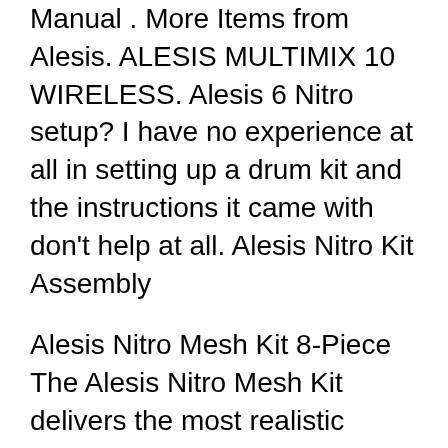Manual . More Items from Alesis. ALESIS MULTIMIX 10 WIRELESS. Alesis 6 Nitro setup? I have no experience at all in setting up a drum kit and the instructions it came with don't help at all. Alesis Nitro Kit Assembly
Alesis Nitro Mesh Kit 8-Piece The Alesis Nitro Mesh Kit delivers the most realistic playing experience for every drummer, - Nitro Module User Guide - Kit Assembly Premium Feel and Natural Dynamics The Alesis DM6 Nitro Kit is a complete 8-piece electronic drum kit that includes everything Assembly instructions/quick start
The Alesis Nitro is a complete 8-piece